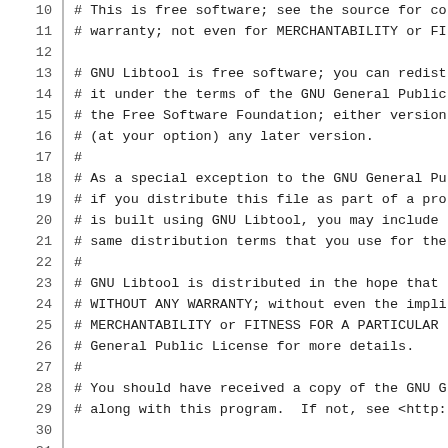10  # This is free software; see the source for co
11  # warranty; not even for MERCHANTABILITY or FI
12
13  # GNU Libtool is free software; you can redist
14  # it under the terms of the GNU General Public
15  # the Free Software Foundation; either version
16  # (at your option) any later version.
17  #
18  # As a special exception to the GNU General Pu
19  # if you distribute this file as part of a pro
20  # is built using GNU Libtool, you may include
21  # same distribution terms that you use for the
22  #
23  # GNU Libtool is distributed in the hope that
24  # WITHOUT ANY WARRANTY; without even the impli
25  # MERCHANTABILITY or FITNESS FOR A PARTICULAR
26  # General Public License for more details.
27  #
28  # You should have received a copy of the GNU G
29  # along with this program.  If not, see <http:
30
31